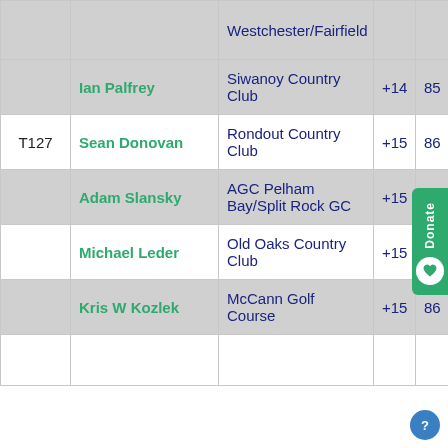|  | Name | Club | Score | Total |
| --- | --- | --- | --- | --- |
|  | Westchester/Fairfield |  |  |  |
|  | Ian Palfrey | Siwanoy Country Club | +14 | 85 |
| T127 | Sean Donovan | Rondout Country Club | +15 | 86 |
|  | Adam Slansky | AGC Pelham Bay/Split Rock GC | +15 |  |
|  | Michael Leder | Old Oaks Country Club | +15 | 86 |
|  | Kris W Kozlek | McCann Golf Course | +15 | 86 |